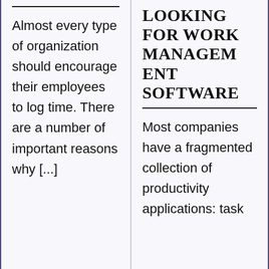Almost every type of organization should encourage their employees to log time. There are a number of important reasons why [...]
LOOKING FOR WORK MANAGEMENT SOFTWARE
Most companies have a fragmented collection of productivity applications: task